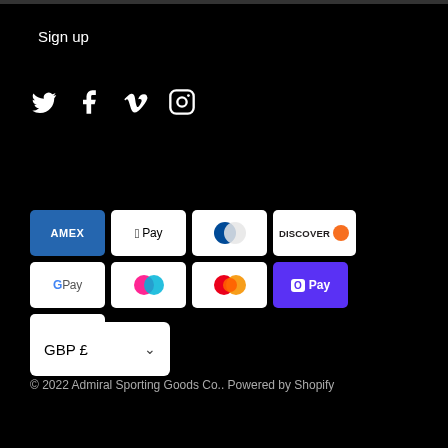Sign up
[Figure (illustration): Social media icons: Twitter, Facebook, Vimeo, Instagram]
[Figure (illustration): Payment method badges: American Express, Apple Pay, Diners Club, Discover, Google Pay, Klarna, Mastercard, Shopify Pay, Visa]
GBP £
© 2022 Admiral Sporting Goods Co.. Powered by Shopify